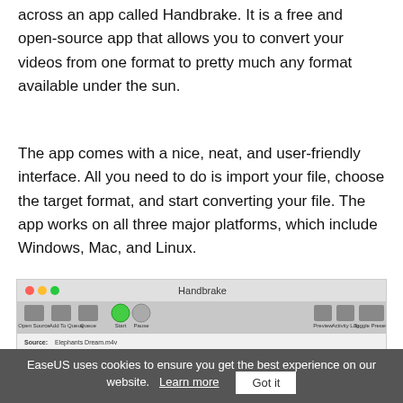across an app called Handbrake. It is a free and open-source app that allows you to convert your videos from one format to pretty much any format available under the sun.
The app comes with a nice, neat, and user-friendly interface. All you need to do is import your file, choose the target format, and start converting your file. The app works on all three major platforms, which include Windows, Mac, and Linux.
[Figure (screenshot): Screenshot of the Handbrake application showing its interface with toolbar buttons (Open Source, Add To Queue, Queue, Start, Pause, Preview, Activity Log, Toggle Presets), source file 'Elephants Dream.m4v', title dropdown, angle/chapters fields, destination section, and file path.]
EaseUS uses cookies to ensure you get the best experience on our website.   Learn more   Got it